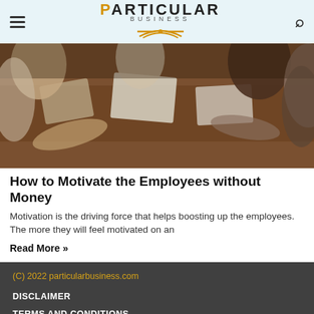PARTICULAR BUSINESS
[Figure (photo): People sitting around a table with laptops and documents in a business meeting setting, viewed from above at an angle.]
How to Motivate the Employees without Money
Motivation is the driving force that helps boosting up the employees. The more they will feel motivated on an
Read More »
(C) 2022 particularbusiness.com
DISCLAIMER
TERMS AND CONDITIONS
PRIVACY POLICY
CONTACT